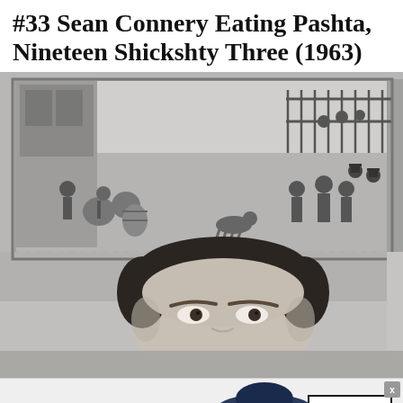#33 Sean Connery Eating Pashta, Nineteen Shickshty Three (1963)
[Figure (photo): Black and white photograph showing Sean Connery's face peeking up from the bottom of the frame, with a historical engraving or illustration of a street scene visible on the wall behind him. The scene depicts people in 19th century clothing on a street.]
[Figure (other): Bloomingdales advertisement banner showing the brand name, a woman in a large brimmed hat, the text 'View Today's Top Deals!' and a 'SHOP NOW >' call-to-action button.]